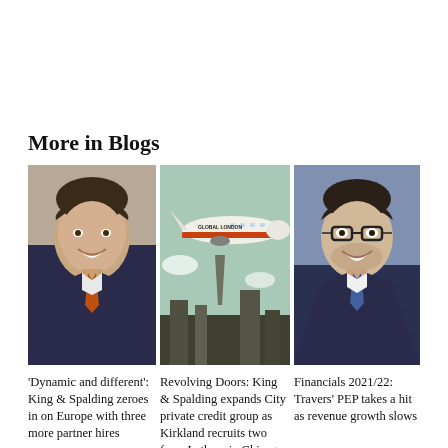More in Blogs
[Figure (photo): Headshot of a smiling man in a dark suit with an orange tie]
[Figure (illustration): Illustration of an airplane labeled 'Global London' flying over a city skyline with the Shard visible]
[Figure (photo): Headshot of a smiling man with glasses in a dark suit with a blue tie]
‘Dynamic and different’: King & Spalding zeroes in on Europe with three more partner hires
Revolving Doors: King & Spalding expands City private credit group as Kirkland recruits two from Latham in Chicago
Financials 2021/22: Travers’ PEP takes a hit as revenue growth slows